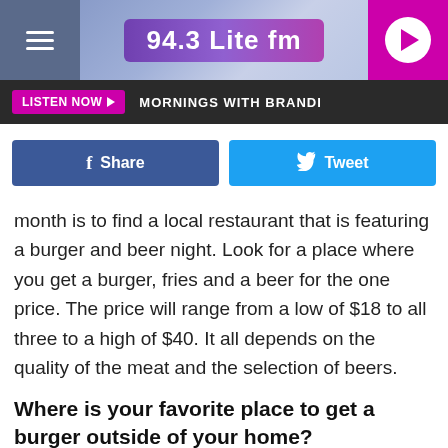[Figure (screenshot): 94.3 Lite FM radio station header with hamburger menu on left, station logo in center, and purple play button on right]
LISTEN NOW ▶  MORNINGS WITH BRANDI
[Figure (screenshot): Social share buttons: Facebook Share and Twitter Tweet]
month is to find a local restaurant that is featuring a burger and beer night. Look for a place where you get a burger, fries and a beer for the one price. The price will range from a low of $18 to all three to a high of $40. It all depends on the quality of the meat and the selection of beers.
Where is your favorite place to get a burger outside of your home?
[Figure (photo): Dark image strip at bottom of content]
[Figure (screenshot): SafeBreach advertisement banner: Are You More Secure Than Cisco — Open button]